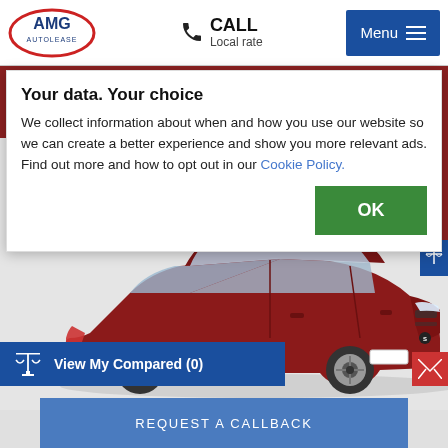[Figure (logo): AMG Autolease oval logo with red border and navy text]
CALL Local rate
Menu
Your data. Your choice
We collect information about when and how you use our website so we can create a better experience and show you more relevant ads. Find out more and how to opt out in our Cookie Policy.
[Figure (photo): Red SEAT Leon hatchback car on white/grey background, side view facing right]
View My Compared (0)
REQUEST A CALLBACK